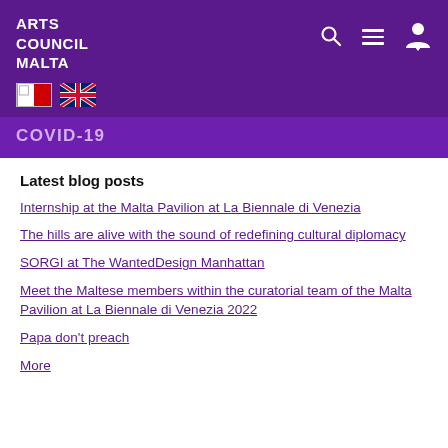ARTS COUNCIL MALTA
COVID-19
Latest blog posts
Internship at the Malta Pavilion at La Biennale di Venezia
The hills are alive with the sound of redefining cultural diplomacy
SORGI at The WantedDesign Manhattan
Meet the Maltese members within the curatorial team of the Malta Pavilion at La Biennale di Venezia 2022
Papa don't preach
More